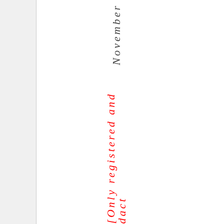November
[Only registered and dact